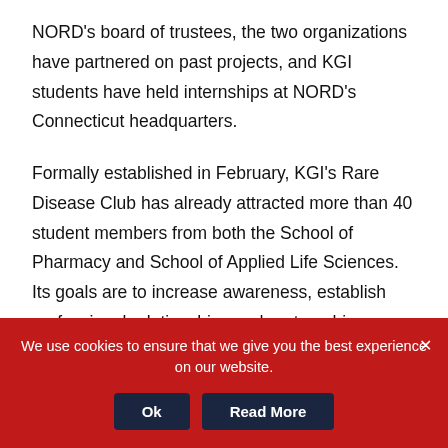NORD's board of trustees, the two organizations have partnered on past projects, and KGI students have held internships at NORD's Connecticut headquarters.
Formally established in February, KGI's Rare Disease Club has already attracted more than 40 student members from both the School of Pharmacy and School of Applied Life Sciences. Its goals are to increase awareness, establish professional relationships and partnerships, provide education, and promote career opportunities related to rare diseases.
We use cookies to ensure that we give you the best experience on our website.